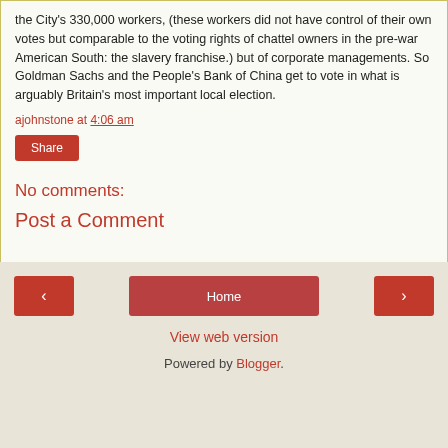the City's 330,000 workers, (these workers did not have control of their own votes but comparable to the voting rights of chattel owners in the pre-war American South: the slavery franchise.) but of corporate managements. So Goldman Sachs and the People's Bank of China get to vote in what is arguably Britain's most important local election.
ajohnstone at 4:06 am
Share
No comments:
Post a Comment
‹  Home  ›  View web version  Powered by Blogger.